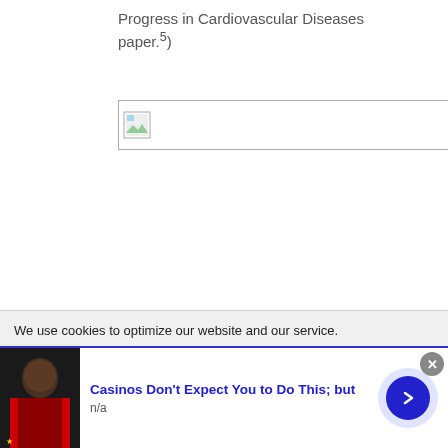Progress in Cardiovascular Diseases paper.5)
[Figure (other): Broken image placeholder with border]
We use cookies to optimize our website and our service.
[Figure (other): Advertisement banner: Casinos Don't Expect You to Do This; but — n/a — with photo of person and arrow button]